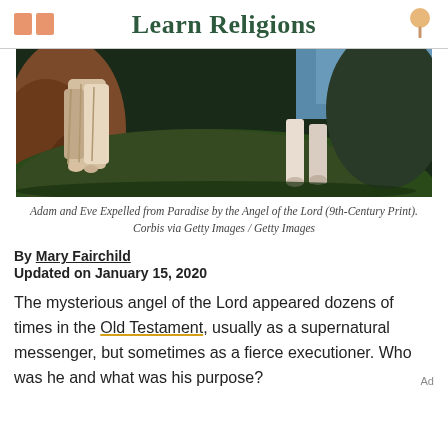Learn Religions
[Figure (illustration): Painting depicting the expulsion of Adam and Eve from Paradise by the Angel of the Lord, 9th-Century print. Rocky landscape with dark tones, figures visible.]
Adam and Eve Expelled from Paradise by the Angel of the Lord (9th-Century Print). Corbis via Getty Images / Getty Images
By Mary Fairchild
Updated on January 15, 2020
The mysterious angel of the Lord appeared dozens of times in the Old Testament, usually as a supernatural messenger, but sometimes as a fierce executioner. Who was he and what was his purpose?